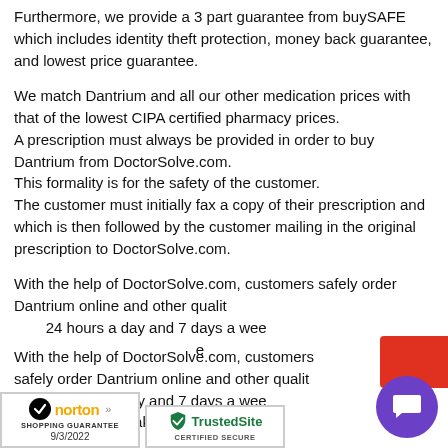Furthermore, we provide a 3 part guarantee from buySAFE which includes identity theft protection, money back guarantee, and lowest price guarantee.
We match Dantrium and all our other medication prices with that of the lowest CIPA certified pharmacy prices. A prescription must always be provided in order to buy Dantrium from DoctorSolve.com. This formality is for the safety of the customer. The customer must initially fax a copy of their prescription and which is then followed by the customer mailing in the original prescription to DoctorSolve.com.
With the help of DoctorSolve.com, customers safely order Dantrium online and other quality medications 24 hours a day and 7 days a week. Our reliable shipping makes more...
[Figure (logo): Norton Shopping Guarantee badge with checkmark logo and date 9/3/2022]
[Figure (logo): TrustedSite Certified Secure badge with shield checkmark logo]
[Figure (other): Purple circular chat button with speech bubble icon in bottom right corner]